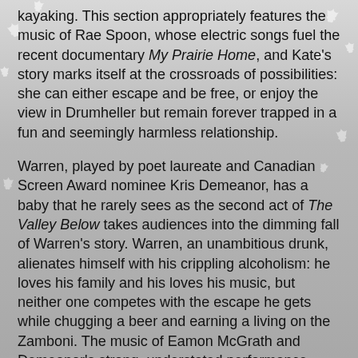kayaking. This section appropriately features the music of Rae Spoon, whose electric songs fuel the recent documentary My Prairie Home, and Kate's story marks itself at the crossroads of possibilities: she can either escape and be free, or enjoy the view in Drumheller but remain forever trapped in a fun and seemingly harmless relationship.
Warren, played by poet laureate and Canadian Screen Award nominee Kris Demeanor, has a baby that he rarely sees as the second act of The Valley Below takes audiences into the dimming fall of Warren's story. Warren, an unambitious drunk, alienates himself with his crippling alcoholism: he loves his family and his loves his music, but neither one competes with the escape he gets while chugging a beer and earning a living on the Zamboni. The music of Eamon McGrath and Demeanor's strong, understated performance shifts The Valley Below away from the new love of summer to the kind of love that doesn't go much further than the ringed watermark of a beer bottle on the bar.
Love feels completely lost, however, in the third and